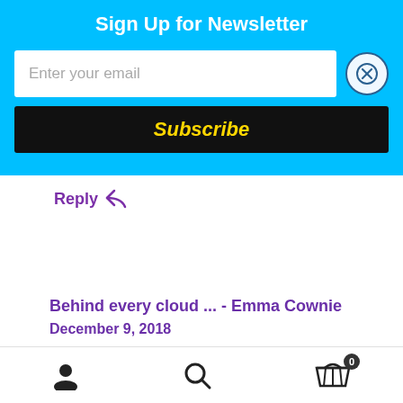Sign Up for Newsletter
Enter your email
Subscribe
Reply ↩
Behind every cloud ... - Emma Cownie
December 9, 2018
[…] a lot. Then I was tempted by the landscape to explore the changing skies too. You can't paint
user icon | search icon | cart 0